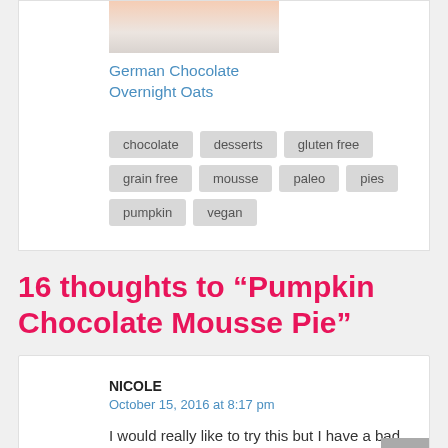[Figure (photo): Partial image of German Chocolate Overnight Oats dish on white background]
German Chocolate Overnight Oats
chocolate
desserts
gluten free
grain free
mousse
paleo
pies
pumpkin
vegan
16 thoughts to “Pumpkin Chocolate Mousse Pie”
NICOLE
October 15, 2016 at 8:17 pm
I would really like to try this but I have a bad allergy to walnuts and pecans. Is there a